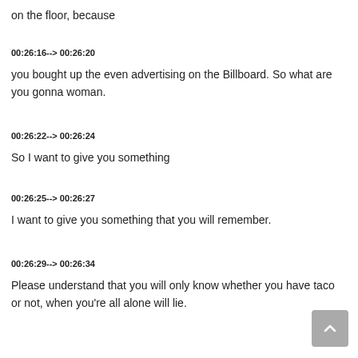on the floor, because
00:26:16--> 00:26:20
you bought up the even advertising on the Billboard. So what are you gonna woman.
00:26:22--> 00:26:24
So I want to give you something
00:26:25--> 00:26:27
I want to give you something that you will remember.
00:26:29--> 00:26:34
Please understand that you will only know whether you have taco or not, when you're all alone will lie.